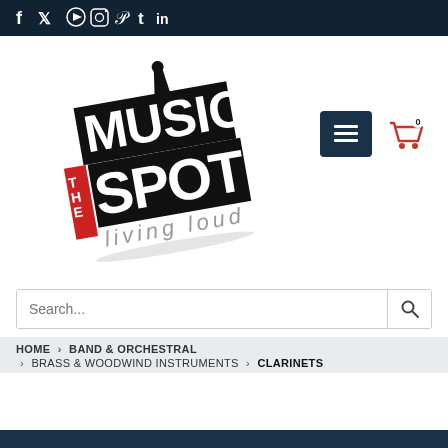Social media icons: Facebook, Twitter, YouTube, Instagram, Pinterest, Tumblr, LinkedIn
[Figure (logo): The Music Spot logo — stylized bold text 'MUSIC SPOT' with 'THE' in red on the left, 'living loud' below in grey, guitar silhouette above, tilted at an angle]
[Figure (infographic): Navigation icons: hamburger menu button (dark navy square) and red shopping cart icon with badge showing 0]
Search...
HOME › BAND & ORCHESTRAL › BRASS & WOODWIND INSTRUMENTS › CLARINETS